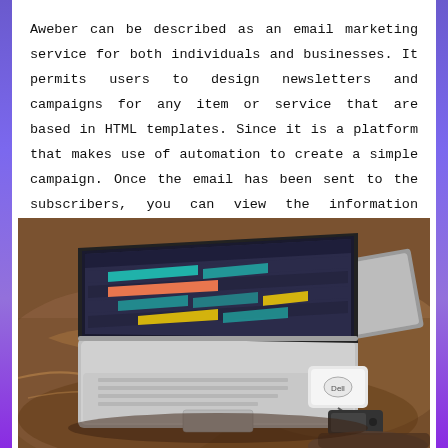Aweber can be described as an email marketing service for both individuals and businesses. It permits users to design newsletters and campaigns for any item or service that are based in HTML templates. Since it is a platform that makes use of automation to create a simple campaign. Once the email has been sent to the subscribers, you can view the information through their stats.
[Figure (photo): A laptop computer open on a brown leather couch/ottoman, displaying a colorful scheduling or workflow application with teal, orange, and yellow blocks. A small Dell device and black power bank sit beside the laptop. A grey tablet/notebook lies in the background on the cushion.]